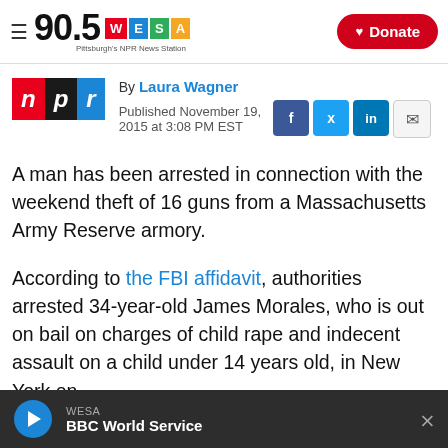90.5 WESA Pittsburgh's NPR News Station | Donate
By Laura Wagner
Published November 19, 2015 at 3:08 PM EST
A man has been arrested in connection with the weekend theft of 16 guns from a Massachusetts Army Reserve armory.
According to the FBI affidavit, authorities arrested 34-year-old James Morales, who is out on bail on charges of child rape and indecent assault on a child under 14 years old, in New York on
WESA
BBC World Service